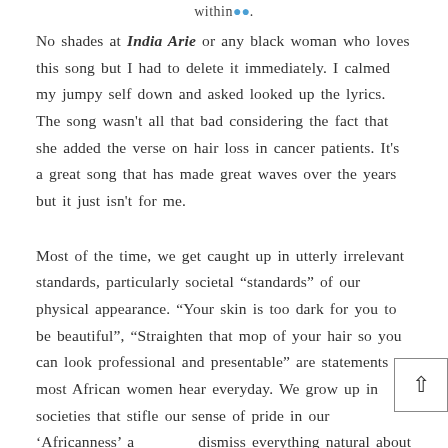within··.
No shades at India Arie or any black woman who loves this song but I had to delete it immediately. I calmed my jumpy self down and asked looked up the lyrics.  The song wasn’t all that bad considering the fact that she added the verse on hair loss in cancer patients. It’s a great song that has made great waves over the years but it just isn’t for me.
Most of the time, we get caught up in utterly irrelevant standards, particularly societal “standards” of our physical appearance. “Your skin is too dark for you to be beautiful”, “Straighten that mop of your hair so you can look professional and presentable” are statements most African women hear everyday. We grow up in societies that stifle our sense of pride in our ‘Africanness’ a dismiss everything natural about us as inferior. Over half